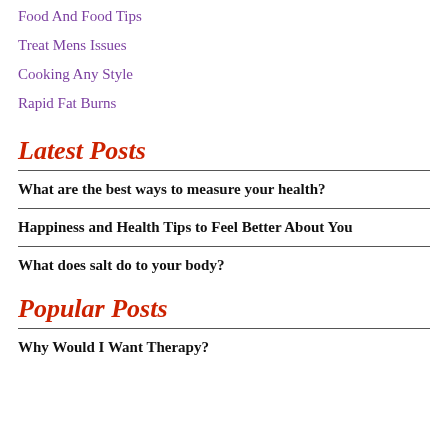Food And Food Tips
Treat Mens Issues
Cooking Any Style
Rapid Fat Burns
Latest Posts
What are the best ways to measure your health?
Happiness and Health Tips to Feel Better About You
What does salt do to your body?
Popular Posts
Why Would I Want Therapy?